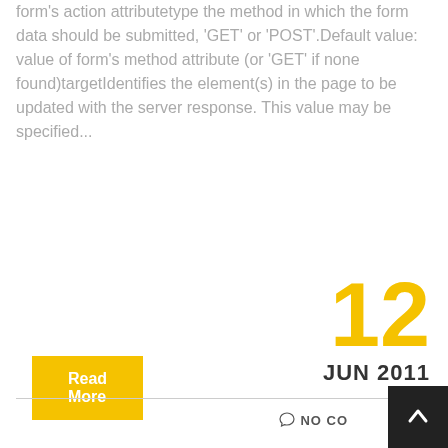form's action attributetype the method in which the form data should be submitted, 'GET' or 'POST'.Default value: value of form's method attribute (or 'GET' if none found)targetIdentifies the element(s) in the page to be updated with the server response. This value may be specified...
Read More
12
JUN 2011
NO CO...